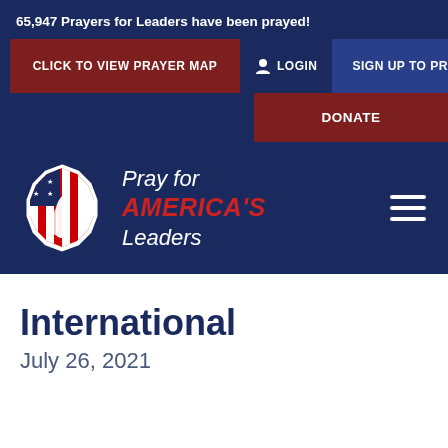65,947 Prayers for Leaders have been prayed!
[Figure (screenshot): Website navigation header for 'Pray for America's Leaders' with buttons: CLICK TO VIEW PRAYER MAP, LOGIN, SIGN UP TO PRAY, DONATE, and logo with hamburger menu]
International
July 26, 2021